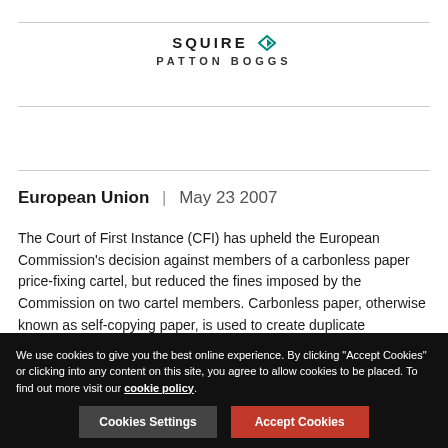[Figure (logo): Squire Patton Boggs logo with teal diamond/arrow graphic]
European Union | May 23 2007
The Court of First Instance (CFI) has upheld the European Commission's decision against members of a carbonless paper price-fixing cartel, but reduced the fines imposed by the Commission on two cartel members. Carbonless paper, otherwise known as self-copying paper, is used to create duplicate documents. In December 2001, the Commission
We use cookies to give you the best online experience. By clicking "Accept Cookies" or clicking into any content on this site, you agree to allow cookies to be placed. To find out more visit our cookie policy.